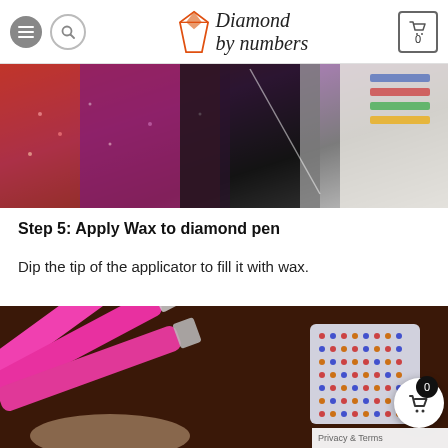Diamond by numbers — navigation header with menu, search, logo, and cart (0)
[Figure (photo): Close-up photo of a diamond painting canvas with colorful rhinestones (red, purple, black areas) and a legend/key strip along the edge, viewed at an angle.]
Step 5: Apply Wax to diamond pen
Dip the tip of the applicator to fill it with wax.
[Figure (photo): Photo of pink diamond painting applicator pens held by a hand, with a small bead tray containing colorful rhinestones on a dark brown background.]